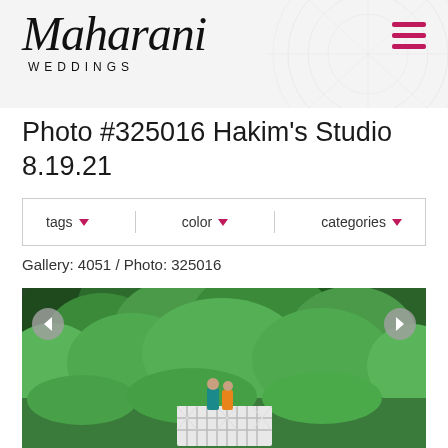Maharani WEDDINGS
Photo #325016 Hakim's Studio 8.19.21
tags ▼   color ▼   categories ▼
Gallery: 4051 / Photo: 325016
[Figure (photo): A couple standing on a white lattice bridge/structure surrounded by lush green forest trees]